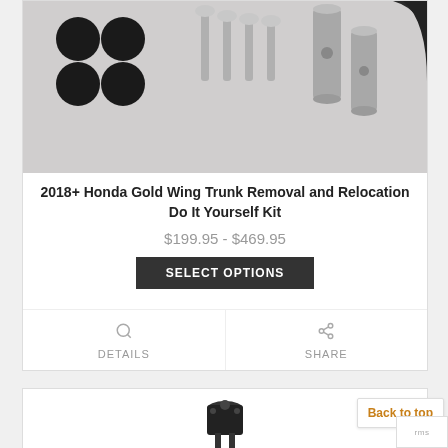[Figure (photo): Product photo showing hardware components: black rubber caps, metal screws/bolts, metal cylindrical tubes/spacers, and black rubber pieces arranged on a light gray surface.]
2018+ Honda Gold Wing Trunk Removal and Relocation Do It Yourself Kit
$199.95 - $469.95
SELECT OPTIONS
DETAILS
SHARE
[Figure (photo): Partial product photo showing a black component on white background, partially visible at bottom of page.]
Back to top